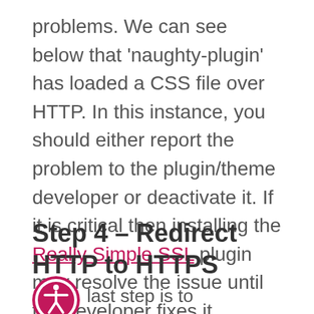problems. We can see below that 'naughty-plugin' has loaded a CSS file over HTTP. In this instance, you should either report the problem to the plugin/theme developer or deactivate it. If it is critical then installing the Really Simple SSL plugin may resolve the issue until the developer fixes it.
Step 4 – Redirect HTTP to HTTPS
[Figure (illustration): Circular accessibility icon with pink border showing a person/wheelchair symbol in white on pink background]
last step is to permanently redirect all calls